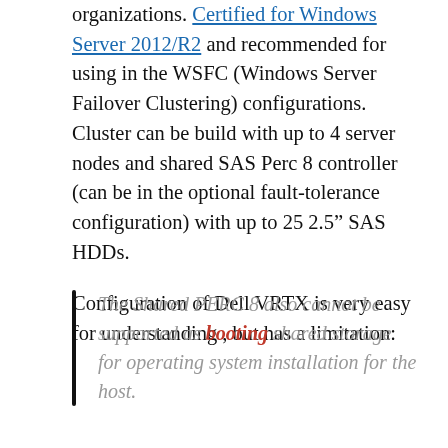organizations. Certified for Windows Server 2012/R2 and recommended for using in the WSFC (Windows Server Failover Clustering) configurations. Cluster can be build with up to 4 server nodes and shared SAS Perc 8 controller (can be in the optional fault-tolerance configuration) with up to 25 2.5" SAS HDDs.
Configuration of Dell VRTX is very easy for understanding , but has a limitation:
The Shared PERC 8 also cannot be supported as booting shared storage for operating system installation for the host.